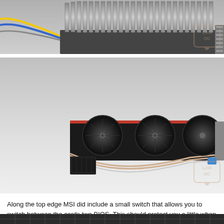[Figure (photo): Top portion of a heatsink with fins and cables visible against a white background, with a LanOC watermark in the lower right.]
[Figure (photo): Side view of an MSI graphics card showing three fans, MSI branding, heat pipes, and power connectors, on a white background, with a LanOC watermark in the lower right.]
Along the top edge MSI did include a small switch that allows you to switch between the cards two BIOS. This should protect you a little when BIOS overclocking.
[Figure (photo): Partial view of a dark graphics card component at the bottom of the page.]